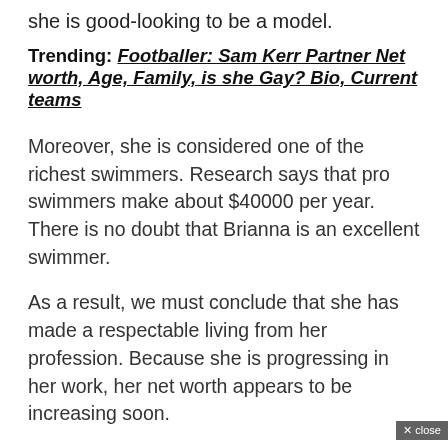she is good-looking to be a model.
Trending: Footballer: Sam Kerr Partner Net worth, Age, Family, is she Gay? Bio, Current teams
Moreover, she is considered one of the richest swimmers. Research says that pro swimmers make about $40000 per year. There is no doubt that Brianna is an excellent swimmer.
As a result, we must conclude that she has made a respectable living from her profession. Because she is progressing in her work, her net worth appears to be increasing soon.
Which school and college did she